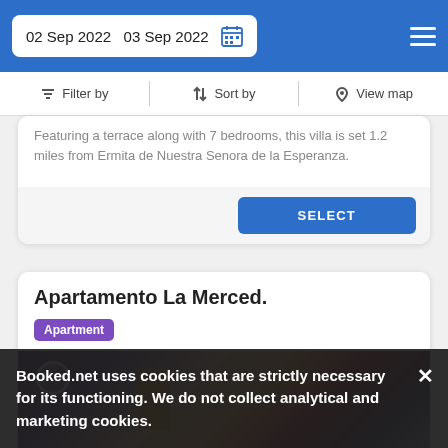02 Sep 2022  03 Sep 2022
Filter by  Sort by  View map
Featuring a terrace along with 7 bedrooms, this villa is set 1.2 miles from Ermita de Nuestra Senora de la Esperanza.
SELECT
Apartamento La Merced.
Apartment
[Figure (photo): Interior room photo showing white walls, an orange/wooden door, and colorful artwork on the wall.]
Booked.net uses cookies that are strictly necessary for its functioning. We do not collect analytical and marketing cookies.